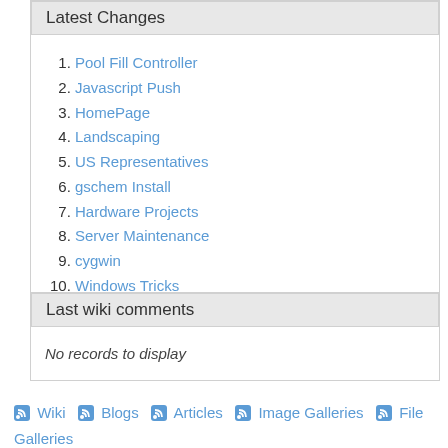Latest Changes
Pool Fill Controller
Javascript Push
HomePage
Landscaping
US Representatives
gschem Install
Hardware Projects
Server Maintenance
cygwin
Windows Tricks
...more
Last wiki comments
No records to display
Wiki  Blogs  Articles  Image Galleries  File Galleries